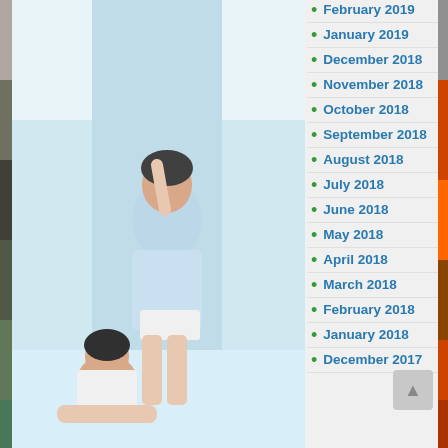[Figure (photo): Left edge strip showing partial photo of people]
[Figure (photo): Center photo area showing young women in casual clothes near a pool or indoor setting, light blue/white color palette]
February 2019
January 2019
December 2018
November 2018
October 2018
September 2018
August 2018
July 2018
June 2018
May 2018
April 2018
March 2018
February 2018
January 2018
December 2017